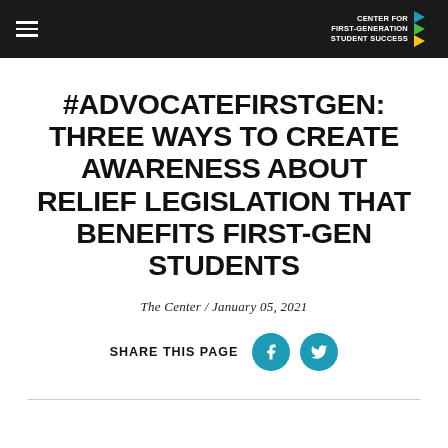CENTER FOR FIRST-GENERATION STUDENT SUCCESS
#ADVOCATEFIRSTGEN: THREE WAYS TO CREATE AWARENESS ABOUT RELIEF LEGISLATION THAT BENEFITS FIRST-GEN STUDENTS
The Center / January 05, 2021
SHARE THIS PAGE